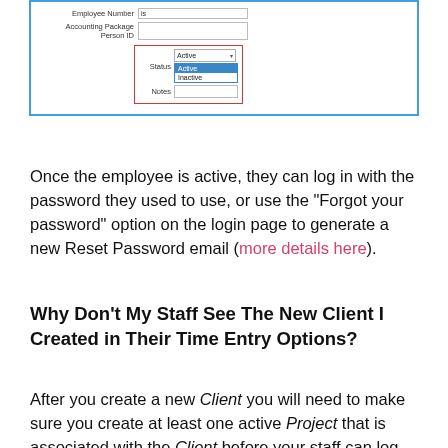[Figure (screenshot): Screenshot of an employee form showing fields for Employee Number, Accounting Package, Person ID, and a Status dropdown expanded showing Active (highlighted in blue) and Inactive options, with a red border around the Status/Notes area.]
Once the employee is active, they can log in with the password they used to use, or use the "Forgot your password" option on the login page to generate a new Reset Password email (more details here).
Why Don't My Staff See The New Client I Created in Their Time Entry Options?
After you create a new Client you will need to make sure you create at least one active Project that is associated with the Client before your staff can log time to the Client.
If both a Client and a Project have been created and your employee is still not able to log time to that Client, this is likely due to one of the following reasons: